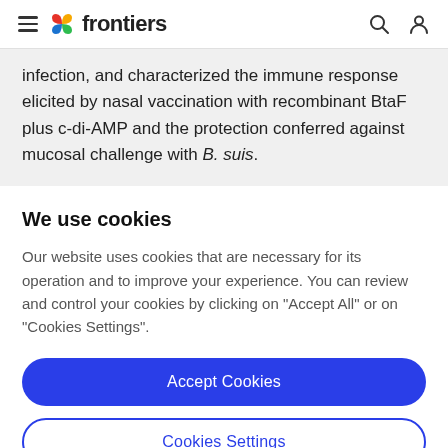frontiers
infection, and characterized the immune response elicited by nasal vaccination with recombinant BtaF plus c-di-AMP and the protection conferred against mucosal challenge with B. suis.
We use cookies
Our website uses cookies that are necessary for its operation and to improve your experience. You can review and control your cookies by clicking on "Accept All" or on "Cookies Settings".
Accept Cookies
Cookies Settings